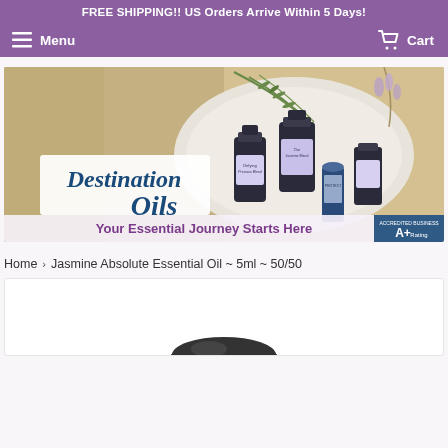FREE SHIPPING!! US Orders Arrive Within 5 Days!
Menu   Cart
[Figure (illustration): Destination Oils banner showing essential oil bottles on a marble plate with rosemary sprigs, script logo text reading 'Destination Oils', tagline 'Your Essential Journey Starts Here', and BBB A+ Rating badge]
Home › Jasmine Absolute Essential Oil ~ 5ml ~ 50/50
[Figure (photo): Product photo showing top of a dark essential oil bottle cap, partially visible at bottom of page]